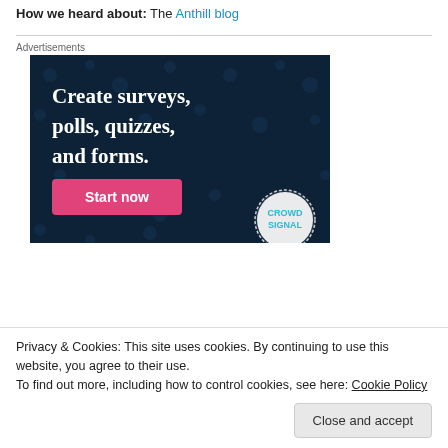How we heard about: The Anthill blog
[Figure (illustration): Advertisement banner with dark navy background showing text 'Create surveys, polls, quizzes, and forms.' with a pink 'Start now' button and Crowdsignal/CrowdUI logo in bottom right corner.]
Privacy & Cookies: This site uses cookies. By continuing to use this website, you agree to their use. To find out more, including how to control cookies, see here: Cookie Policy
Close and accept